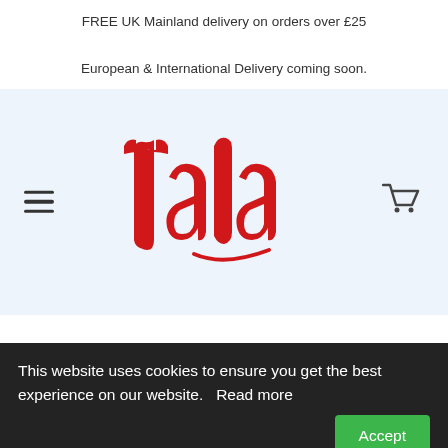FREE UK Mainland delivery on orders over £25
European & International Delivery coming soon.
[Figure (logo): Tala brand logo in red cursive script on light blue background, with hamburger menu icon on the left and shopping cart icon on the right]
This website uses cookies to ensure you get the best experience on our website.  Read more
Accept